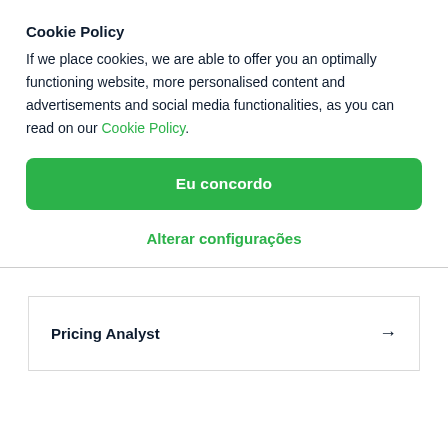Cookie Policy
If we place cookies, we are able to offer you an optimally functioning website, more personalised content and advertisements and social media functionalities, as you can read on our Cookie Policy.
Eu concordo
Alterar configurações
Pricing Analyst →